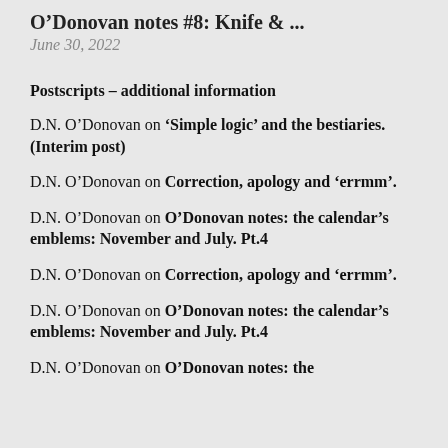O'Donovan notes #8: Knife & ...
June 30, 2022
Postscripts – additional information
D.N. O'Donovan on 'Simple logic' and the bestiaries. (Interim post)
D.N. O'Donovan on Correction, apology and 'errmm'.
D.N. O'Donovan on O'Donovan notes: the calendar's emblems: November and July. Pt.4
D.N. O'Donovan on Correction, apology and 'errmm'.
D.N. O'Donovan on O'Donovan notes: the calendar's emblems: November and July. Pt.4
D.N. O'Donovan on O'Donovan notes: the